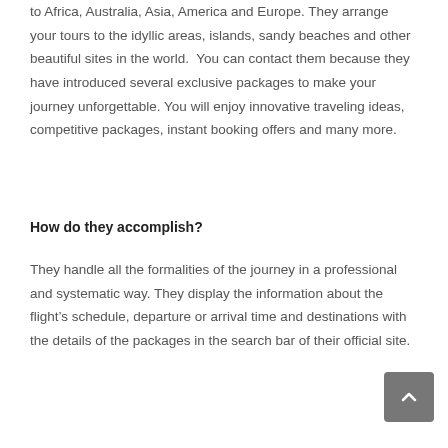to Africa, Australia, Asia, America and Europe. They arrange your tours to the idyllic areas, islands, sandy beaches and other beautiful sites in the world.  You can contact them because they have introduced several exclusive packages to make your journey unforgettable. You will enjoy innovative traveling ideas, competitive packages, instant booking offers and many more.
How do they accomplish?
They handle all the formalities of the journey in a professional and systematic way. They display the information about the flight's schedule, departure or arrival time and destinations with the details of the packages in the search bar of their official site.